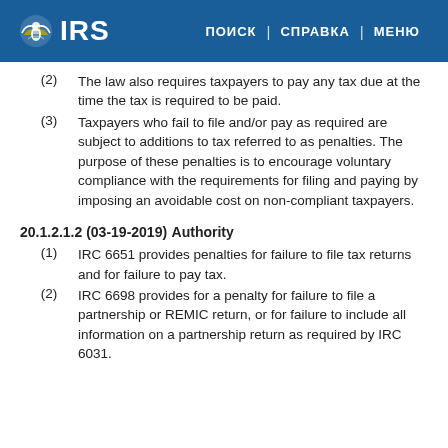IRS | ПОИСК | СПРАВКА | МЕНЮ
(2) The law also requires taxpayers to pay any tax due at the time the tax is required to be paid.
(3) Taxpayers who fail to file and/or pay as required are subject to additions to tax referred to as penalties. The purpose of these penalties is to encourage voluntary compliance with the requirements for filing and paying by imposing an avoidable cost on non-compliant taxpayers.
20.1.2.1.2 (03-19-2019)
Authority
(1) IRC 6651 provides penalties for failure to file tax returns and for failure to pay tax.
(2) IRC 6698 provides for a penalty for failure to file a partnership or REMIC return, or for failure to include all information on a partnership return as required by IRC 6031.